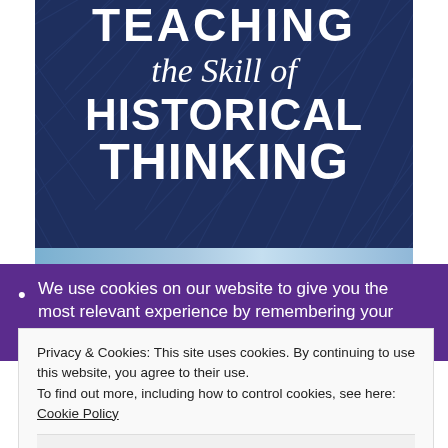[Figure (illustration): Book cover with dark navy blue background and diagonal scratch texture lines. White bold uppercase text reads TEACHING at top, italic script text reads 'the Skill of', followed by bold uppercase HISTORICAL THINKING. Below is a photo strip of classroom students.]
We use cookies on our website to give you the most relevant experience by remembering your preferences and
Privacy & Cookies: This site uses cookies. By continuing to use this website, you agree to their use.
To find out more, including how to control cookies, see here: Cookie Policy
Close and accept